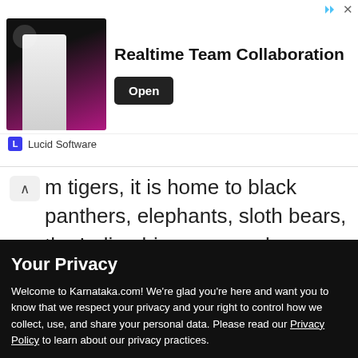[Figure (other): Advertisement banner for Lucid Software showing 'Realtime Team Collaboration' with an Open button and person image against dark background]
m tigers, it is home to black panthers, elephants, sloth bears, the Indian bison, several varieties of deer and snakes. Over 200 bird species also live
Your Privacy
Welcome to Karnataka.com! We’re glad you’re here and want you to know that we respect your privacy and your right to control how we collect, use, and share your personal data. Please read our Privacy Policy to learn about our privacy practices.
I UNDERSTAND